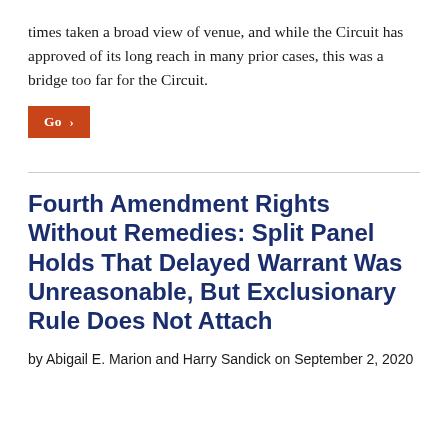times taken a broad view of venue, and while the Circuit has approved of its long reach in many prior cases, this was a bridge too far for the Circuit.
Go >
Fourth Amendment Rights Without Remedies: Split Panel Holds That Delayed Warrant Was Unreasonable, But Exclusionary Rule Does Not Attach
by Abigail E. Marion and Harry Sandick on September 2, 2020